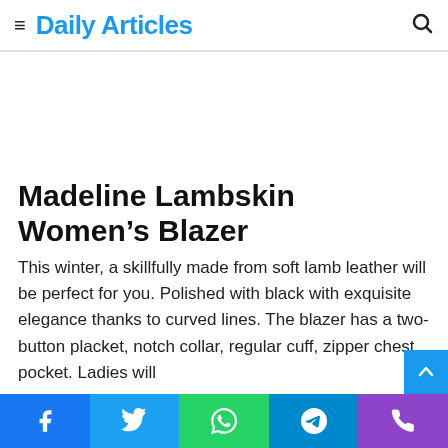Daily Articles
Madeline Lambskin Women’s Blazer
This winter, a skillfully made from soft lamb leather will be perfect for you. Polished with black with exquisite elegance thanks to curved lines. The blazer has a two-button placket, notch collar, regular cuff, zipper chest pocket. Ladies will